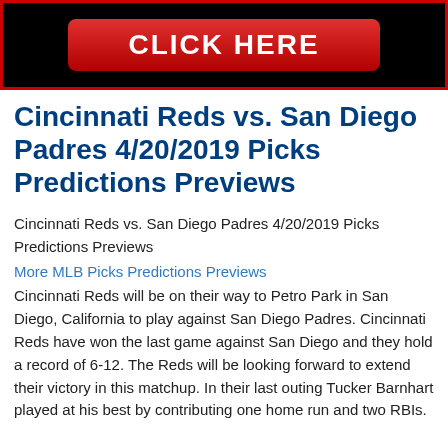[Figure (other): Black banner with red border containing a red button with white text reading CLICK HERE]
Cincinnati Reds vs. San Diego Padres 4/20/2019 Picks Predictions Previews
Cincinnati Reds vs. San Diego Padres 4/20/2019 Picks Predictions Previews
More MLB Picks Predictions Previews
Cincinnati Reds will be on their way to Petro Park in San Diego, California to play against San Diego Padres. Cincinnati Reds have won the last game against San Diego and they hold a record of 6-12. The Reds will be looking forward to extend their victory in this matchup. In their last outing Tucker Barnhart played at his best by contributing one home run and two RBIs.